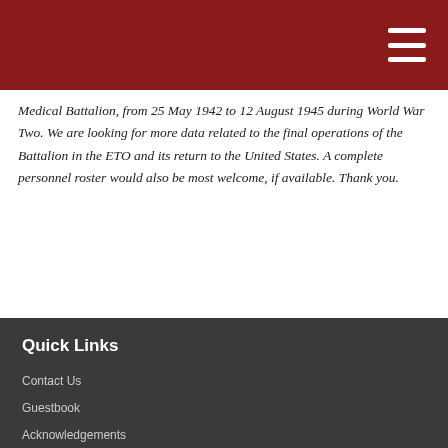Medical Battalion, from 25 May 1942 to 12 August 1945 during World War Two. We are looking for more data related to the final operations of the Battalion in the ETO and its return to the United States. A complete personnel roster would also be most welcome, if available. Thank you.
Quick Links
Contact Us
Guestbook
Acknowledgements
Support Us
Frequently Asked Questions